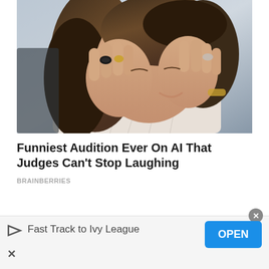[Figure (photo): A woman with long brown hair covering her face with both hands, laughing or reacting with amusement. She is wearing rings and a light-colored outfit. The background is blurred.]
Funniest Audition Ever On AI That Judges Can't Stop Laughing
BRAINBERRIES
Fast Track to Ivy League
OPEN